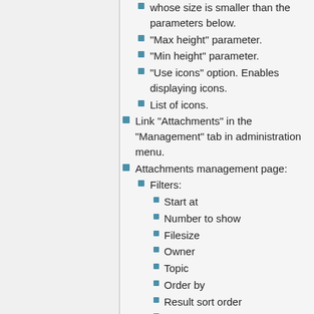whose size is smaller than the parameters below.
“Max height” parameter.
“Min height” parameter.
“Use icons” option. Enables displaying icons.
List of icons.
Link “Attachments” in the “Management” tab in administration menu.
Attachments management page:
Filters:
Start at
Number to show
Filesize
Owner
Topic
Order by
Result sort order
Show only “orphans”.
Fields of the attachments page:
Filename
Filesize